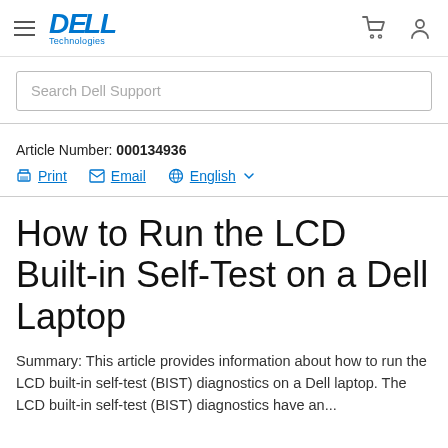Dell Technologies — Navigation header with hamburger menu, Dell Technologies logo, cart icon, and user account icon
Search Dell Support
Article Number: 000134936
Print   Email   English
How to Run the LCD Built-in Self-Test on a Dell Laptop
Summary: This article provides information about how to run the LCD built-in self-test (BIST) diagnostics on a Dell laptop. The LCD built-in self-test (BIST) diagnostics have an...